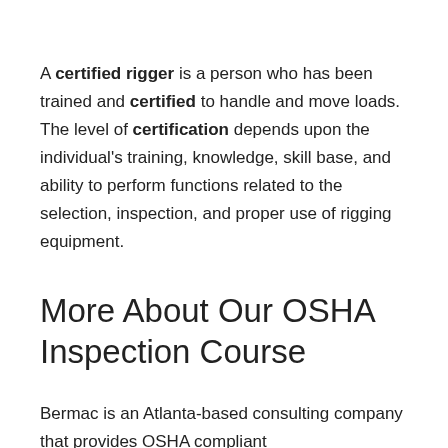A certified rigger is a person who has been trained and certified to handle and move loads. The level of certification depends upon the individual's training, knowledge, skill base, and ability to perform functions related to the selection, inspection, and proper use of rigging equipment.
More About Our OSHA Inspection Course
Bermac is an Atlanta-based consulting company that provides OSHA compliant